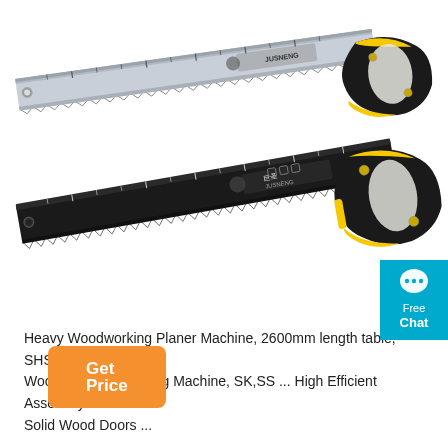[Figure (photo): Two hand saws (JUSNENG brand) with yellow and black handles — one silver/chrome blade on top, one black blade below — both angled diagonally on white background.]
Heavy Woodworking Planer Machine, 2600mm length table, SHSP41 ... Woodworking Polishing Machine, SK,SS ... High Efficient Assembly Solid Wood Doors ...
Get Price